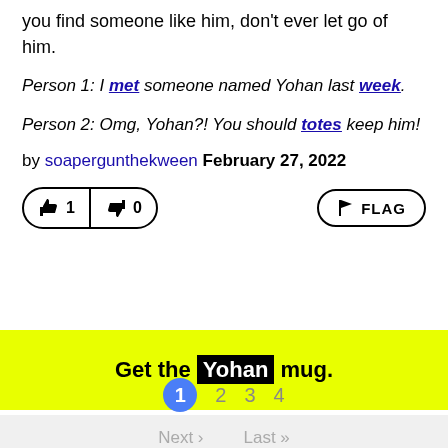you find someone like him, don't ever let go of him.
Person 1: I met someone named Yohan last week.
Person 2: Omg, Yohan?! You should totes keep him!
by soapergunthekween February 27, 2022
👍 1  👎 0  FLAG
Get the Yohan mug.
1  2  3  4
Next ›  Last »